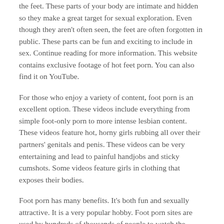the feet. These parts of your body are intimate and hidden so they make a great target for sexual exploration. Even though they aren't often seen, the feet are often forgotten in public. These parts can be fun and exciting to include in sex. Continue reading for more information. This website contains exclusive footage of hot feet porn. You can also find it on YouTube.
For those who enjoy a variety of content, foot porn is an excellent option. These videos include everything from simple foot-only porn to more intense lesbian content. These videos feature hot, horny girls rubbing all over their partners' genitals and penis. These videos can be very entertaining and lead to painful handjobs and sticky cumshots. Some videos feature girls in clothing that exposes their bodies.
Foot porn has many benefits. It's both fun and sexually attractive. It is a very popular hobby. Foot porn sites are used by hundreds of thousands of people to watch the videos. These videos are also extremely empowering for their creators. A foot porn site is a great way to meet new...